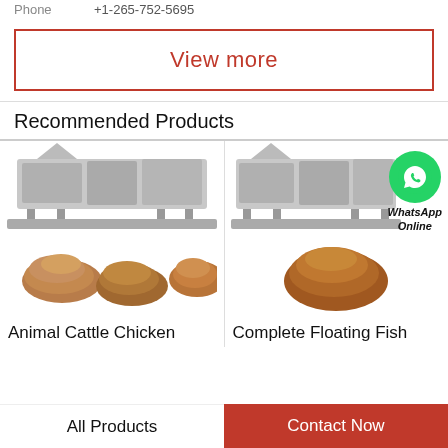Phone   +1-265-752-5695
View more
Recommended Products
[Figure (photo): Industrial pet food machine (extruder line) with piles of animal feed kibble below it]
Animal Cattle Chicken
[Figure (photo): Industrial floating fish feed machine with pile of fish feed kibble below it and WhatsApp Online overlay]
Complete Floating Fish
All Products
Contact Now